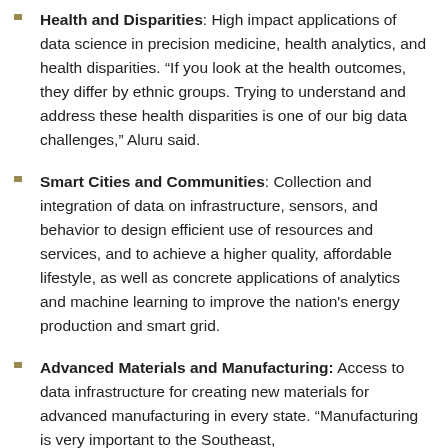Health and Disparities: High impact applications of data science in precision medicine, health analytics, and health disparities. “If you look at the health outcomes, they differ by ethnic groups. Trying to understand and address these health disparities is one of our big data challenges,” Aluru said.
Smart Cities and Communities: Collection and integration of data on infrastructure, sensors, and behavior to design efficient use of resources and services, and to achieve a higher quality, affordable lifestyle, as well as concrete applications of analytics and machine learning to improve the nation's energy production and smart grid.
Advanced Materials and Manufacturing: Access to data infrastructure for creating new materials for advanced manufacturing in every state. “Manufacturing is very important to the Southeast,